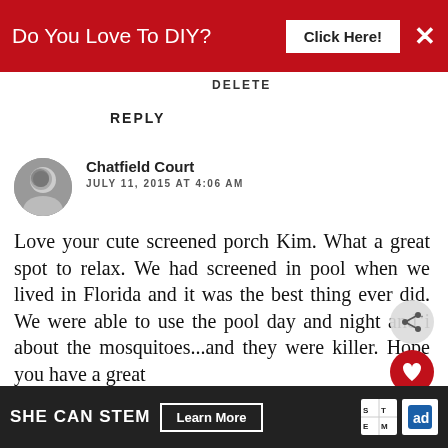[Figure (screenshot): Red advertisement banner: 'Do You Love To DIY? Click Here!' with X close button]
DELETE
REPLY
Chatfield Court
JULY 11, 2015 AT 4:06 AM
Love your cute screened porch Kim. What a great spot to relax. We had screened in pool when we lived in Florida and it was the best thing ever did. We were able to use the pool day and night and it about the mosquitoes...and they were killer. Hope you have a great
[Figure (screenshot): Bottom dark advertisement banner: SHE CAN STEM with Learn More button, STEM logo, and Ad Council logo]